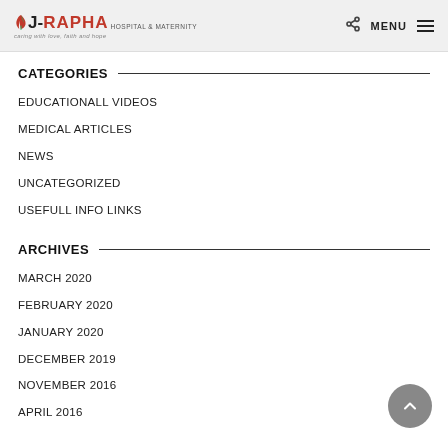J-RAPHA HOSPITAL & MATERNITY — caring with love, faith and hope | MENU
CATEGORIES
EDUCATIONALL VIDEOS
MEDICAL ARTICLES
NEWS
UNCATEGORIZED
USEFULL INFO LINKS
ARCHIVES
MARCH 2020
FEBRUARY 2020
JANUARY 2020
DECEMBER 2019
NOVEMBER 2016
APRIL 2016